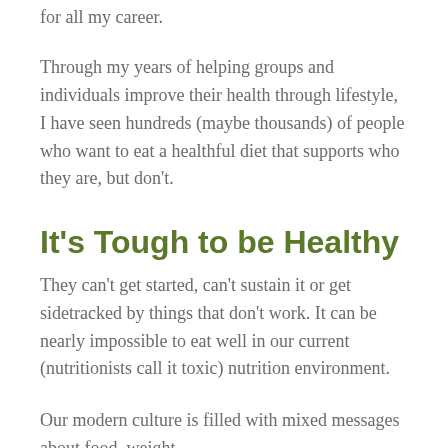for all my career.
Through my years of helping groups and individuals improve their health through lifestyle, I have seen hundreds (maybe thousands) of people who want to eat a healthful diet that supports who they are, but don't.
It's Tough to be Healthy
They can't get started, can't sustain it or get sidetracked by things that don't work. It can be nearly impossible to eat well in our current (nutritionists call it toxic) nutrition environment.
Our modern culture is filled with mixed messages about food, weight